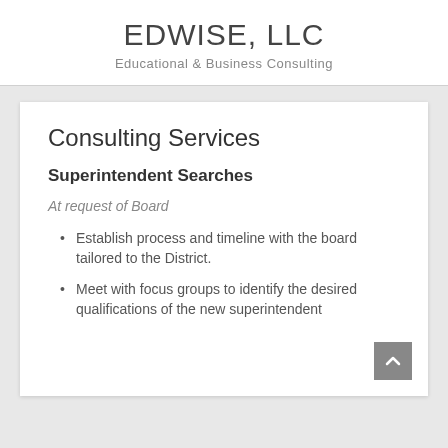EDWISE, LLC
Educational & Business Consulting
Consulting Services
Superintendent Searches
At request of Board
Establish process and timeline with the board tailored to the District.
Meet with focus groups to identify the desired qualifications of the new superintendent